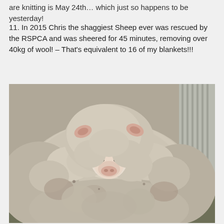are knitting is May 24th… which just so happens to be yesterday!
11. In 2015 Chris the shaggiest Sheep ever was rescued by the RSPCA and was sheered for 45 minutes, removing over 40kg of wool! – That's equivalent to 16 of my blankets!!!
[Figure (photo): Photo of Chris the sheep, an extremely shaggy sheep with a massive overgrown wool fleece, sitting in front of a corrugated metal wall. The sheep's small face is barely visible through the enormous mass of dirty white and grey wool.]